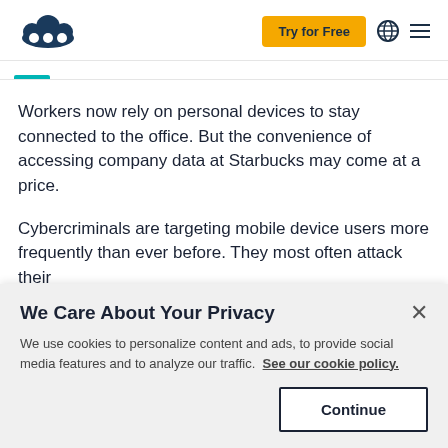Try for Free
Workers now rely on personal devices to stay connected to the office. But the convenience of accessing company data at Starbucks may come at a price.
Cybercriminals are targeting mobile device users more frequently than ever before. They most often attack their
We Care About Your Privacy
We use cookies to personalize content and ads, to provide social media features and to analyze our traffic. See our cookie policy.
Continue